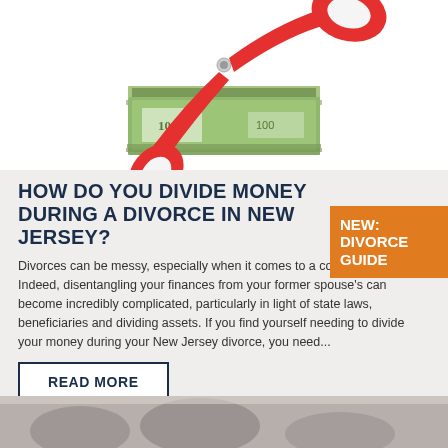[Figure (photo): Red scissors cutting through a stack of US $100 bills on a white background]
HOW DO YOU DIVIDE MONEY DURING A DIVORCE IN NEW JERSEY?
[Figure (infographic): Orange badge/banner reading NEW: DIVORCE GUIDE]
Divorces can be messy, especially when it comes to a couple's finances. Indeed, disentangling your finances from your former spouse's can become incredibly complicated, particularly in light of state laws, beneficiaries and dividing assets. If you find yourself needing to divide your money during your New Jersey divorce, you need...
READ MORE
[Figure (photo): Partial bottom strip of a grey-toned image, partially visible at the bottom of the page]